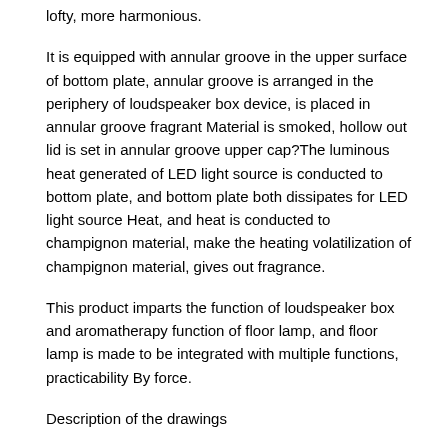lofty, more harmonious.
It is equipped with annular groove in the upper surface of bottom plate, annular groove is arranged in the periphery of loudspeaker box device, is placed in annular groove fragrant Material is smoked, hollow out lid is set in annular groove upper cap¿The luminous heat generated of LED light source is conducted to bottom plate, and bottom plate both dissipates for LED light source Heat, and heat is conducted to champignon material, make the heating volatilization of champignon material, gives out fragrance.
This product imparts the function of loudspeaker box and aromatherapy function of floor lamp, and floor lamp is made to be integrated with multiple functions, practicability By force.
Description of the drawings
Fig. 1 is the structural schematic diagram of the console mode multifunctional lamp of the utility model¿
Fig. 2 is the vertical view of the outer cover of the console mode multifunctional lamp of the utility model¿